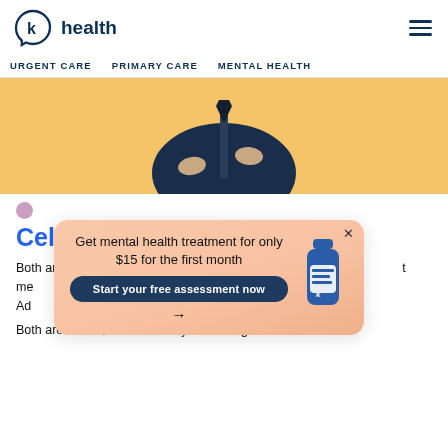k health — URGENT CARE  PRIMARY CARE  MENTAL HEALTH
[Figure (photo): Person in navy blue zip-up jacket with arms crossed, on a yellow/golden background. Only torso visible.]
Celexa vs. Prozac
Both are mental health treatment for only $15 for the first month. Both are SSRIs, which work by increasing the levels
[Figure (infographic): Popup banner: 'Get mental health treatment for only $15 for the first month' with 'Start your free assessment now →' CTA button and an image of a blue pill bottle.]